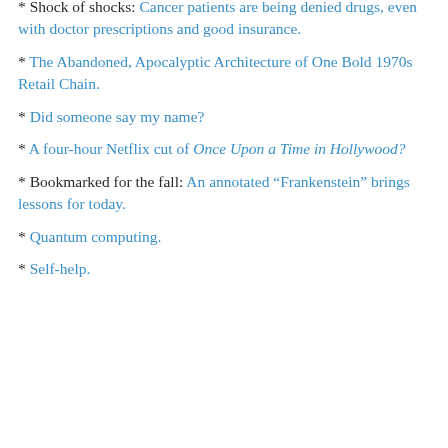* Shock of shocks: Cancer patients are being denied drugs, even with doctor prescriptions and good insurance.
* The Abandoned, Apocalyptic Architecture of One Bold 1970s Retail Chain.
* Did someone say my name?
* A four-hour Netflix cut of Once Upon a Time in Hollywood?
* Bookmarked for the fall: An annotated “Frankenstein” brings lessons for today.
* Quantum computing.
* Self-help.